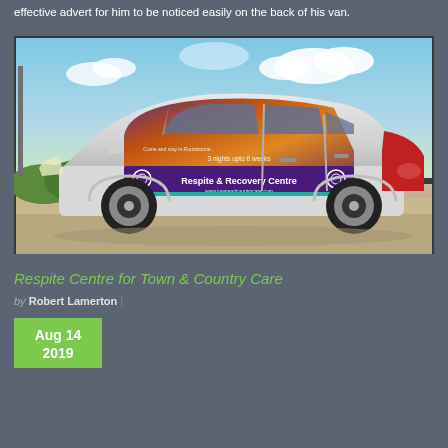effective advert for him to be noticed easily on the back of his van.
[Figure (photo): A silver hatchback car with full vehicle wrap advertising 'Respite & Recovery Centre' with sunset/landscape imagery and text '3 nights upto 6 weeks', parked on a concrete surface under a blue sky with clouds.]
Respite Centre for Town & Country Care
by Robert Lamerton
Aug 14 2019